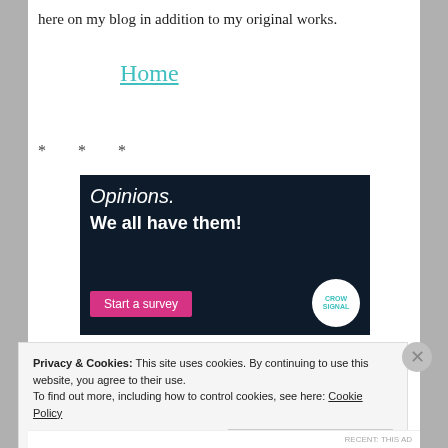here on my blog in addition to my original works.
Home
* . * . *
[Figure (illustration): Dark navy blue advertisement banner with text 'Opinions. We all have them!' and a pink 'Start a survey' button, with a CrowdSignal logo circle at bottom right.]
Privacy & Cookies: This site uses cookies. By continuing to use this website, you agree to their use.
To find out more, including how to control cookies, see here: Cookie Policy
Close and accept